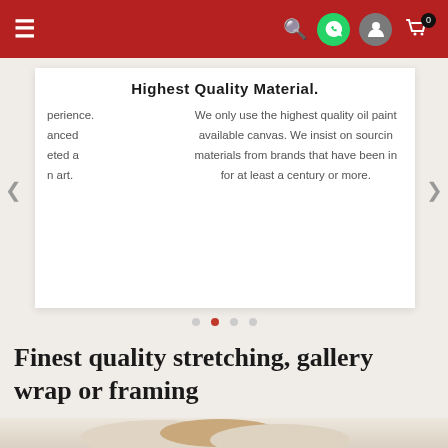Navigation header with hamburger menu, search icon, WhatsApp icon, user icon, and cart icon (0 items)
[Figure (screenshot): Slider card showing 'Highest Quality Material' content. Left column partially visible with text about experience, advanced, completed, art. Right column: 'We only use the highest quality oil paints available canvas. We insist on sourcing materials from brands that have been in for at least a century or more.']
We only use the highest quality oil paints available canvas. We insist on sourcing materials from brands that have been in for at least a century or more.
Finest quality stretching, gallery wrap or framing
[Figure (photo): Bottom portion showing rolled canvas or paper tubes/scrolls at the bottom of the page]